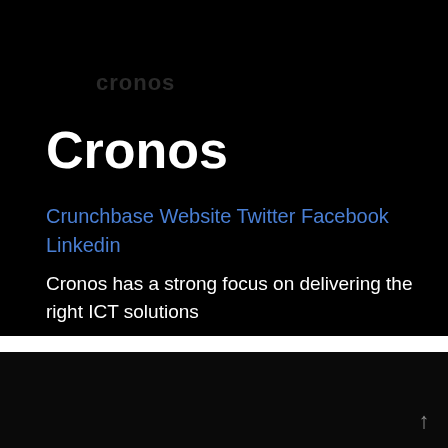[Figure (screenshot): Dark background top section of a company profile page]
Cronos
Crunchbase Website Twitter Facebook Linkedin
Cronos has a strong focus on delivering the right ICT solutions